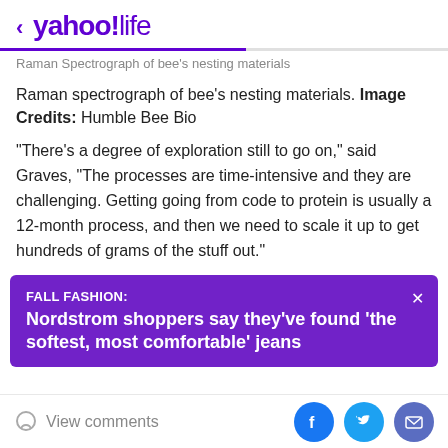< yahoo!life
Raman Spectrograph of bee's nesting materials
Raman spectrograph of bee's nesting materials. Image Credits: Humble Bee Bio
"There's a degree of exploration still to go on," said Graves, "The processes are time-intensive and they are challenging. Getting going from code to protein is usually a 12-month process, and then we need to scale it up to get hundreds of grams of the stuff out."
FALL FASHION: Nordstrom shoppers say they've found 'the softest, most comfortable' jeans
View comments